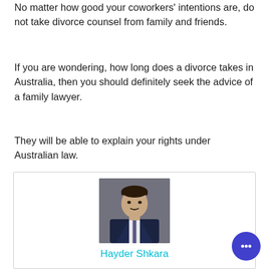No matter how good your coworkers’ intentions are, do not take divorce counsel from family and friends.
If you are wondering, how long does a divorce takes in Australia, then you should definitely seek the advice of a family lawyer.
They will be able to explain your rights under Australian law.
[Figure (photo): Portrait photo of Hayder Shkara in a dark navy suit with tie, against a grey background]
Hayder Shkara